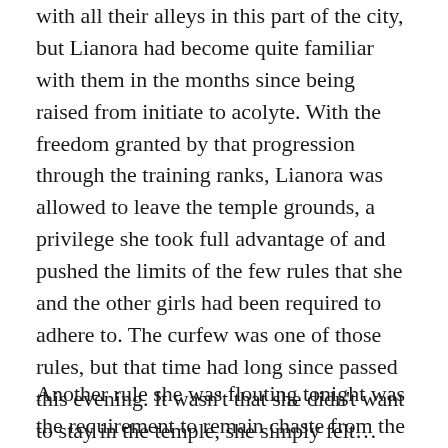with all their alleys in this part of the city, but Lianora had become quite familiar with them in the months since being raised from initiate to acolyte. With the freedom granted by that progression through the training ranks, Lianora was allowed to leave the temple grounds, a privilege she took full advantage of and pushed the limits of the few rules that she and the other girls had been required to adhere to. The curfew was one of those rules, but that time had long since passed this evening. It wasn't that she didn't want to stay in the temple, she simply felt… itchy after being cooped up for the last two years as an initiate.
Another rule she was flouting tonight was the requirement to remain chaste from the time